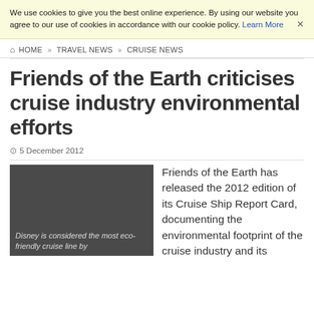We use cookies to give you the best online experience. By using our website you agree to our use of cookies in accordance with our cookie policy. Learn More
HOME » TRAVEL NEWS » CRUISE NEWS
Friends of the Earth criticises cruise industry environmental efforts
5 December 2012
[Figure (photo): Dark grey image with italic caption: Disney is considered the most eco-friendly cruise line by]
Friends of the Earth has released the 2012 edition of its Cruise Ship Report Card, documenting the environmental footprint of the cruise industry and its